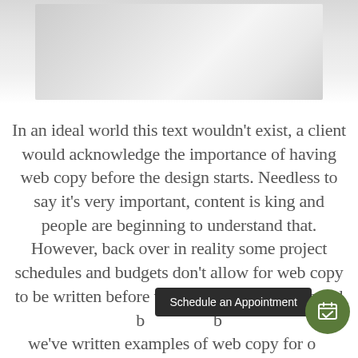[Figure (photo): Partially visible grayscale photo, appears to show fabric or clothing, cropped at top of page]
In an ideal world this text wouldn't exist, a client would acknowledge the importance of having web copy before the design starts. Needless to say it's very important, content is king and people are beginning to understand that. However, back over in reality some project schedules and budgets don't allow for web copy to be written before the design phase, this is sad but true. We like to be we've written examples of web copy for our